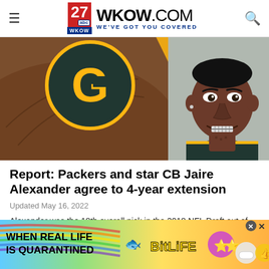WKOW.COM — WE'VE GOT YOU COVERED
[Figure (photo): Green Bay Packers logo and a portrait photo of Jaire Alexander in a Packers jersey, smiling with braces]
Report: Packers and star CB Jaire Alexander agree to 4-year extension
Updated May 16, 2022
Alexander was the 18th overall pick in the 2018 NFL Draft out of Louisville.
[Figure (screenshot): BitLife mobile game advertisement banner: 'WHEN REAL LIFE IS QUARANTINED — BitLife' with cartoon emoji characters and rainbow background]